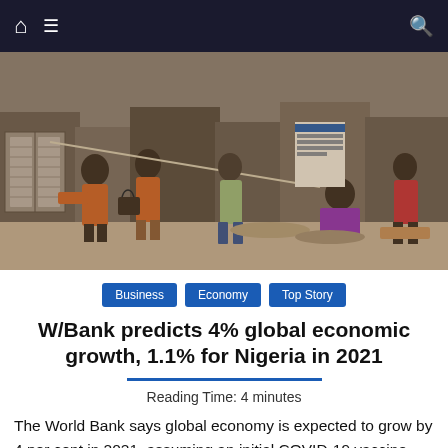Navigation bar with home, menu, and search icons
[Figure (photo): Outdoor market scene in Nigeria showing people walking through a busy street market with vendors selling goods on the ground, storefronts in the background]
Business   Economy   Top Story
W/Bank predicts 4% global economic growth, 1.1% for Nigeria in 2021
Reading Time: 4 minutes
The World Bank says global economy is expected to grow by 4 per cent in 2021, assuming an initial COVID-19 vaccine rollout becomes widespread throughout the year. It said this in a statement in Washington D.C. on Tuesday at the presentation of the J